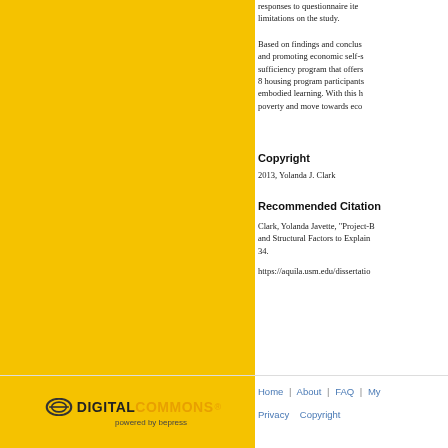responses to questionnaire items limitations on the study.
Based on findings and conclusions and promoting economic self-sufficiency program that offers 8 housing program participants embodied learning. With this h poverty and move towards eco
Copyright
2013, Yolanda J. Clark
Recommended Citation
Clark, Yolanda Javette, "Project-B and Structural Factors to Explain 34.
https://aquila.usm.edu/dissertatio
[Figure (logo): Digital Commons powered by bepress logo on yellow background]
Home | About | FAQ | My Privacy Copyright